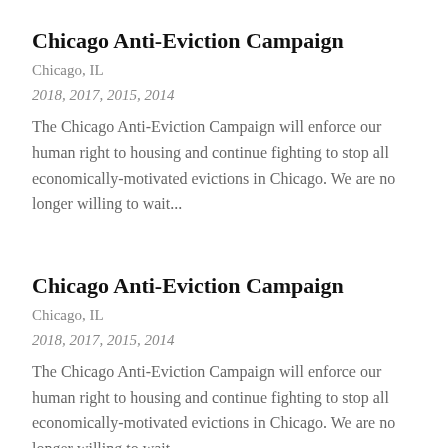Chicago Anti-Eviction Campaign
Chicago, IL
2018, 2017, 2015, 2014
The Chicago Anti-Eviction Campaign will enforce our human right to housing and continue fighting to stop all economically-motivated evictions in Chicago. We are no longer willing to wait...
Chicago Anti-Eviction Campaign
Chicago, IL
2018, 2017, 2015, 2014
The Chicago Anti-Eviction Campaign will enforce our human right to housing and continue fighting to stop all economically-motivated evictions in Chicago. We are no longer willing to wait...